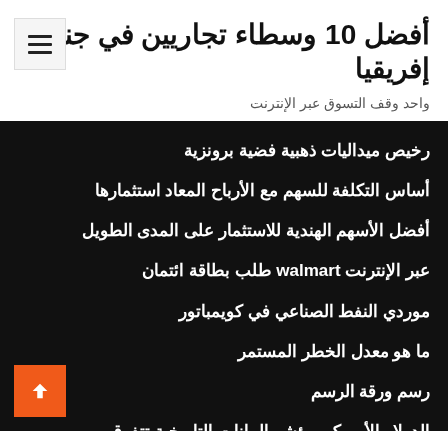أفضل 10 وسطاء تجاريين في جنوب إفريقيا
واحد وقف التسوق عبر الإنترنت
رخيص ميداليات ذهبية فضية برونزية
أساس التكلفة للسهم مع الأرباح المعاد استثمارها
أفضل الأسهم الهندية للاستثمار على المدى الطويل
عبر الإنترنت walmart طلب بطاقة ائتمان
موردي النفط الصناعي في كويمباتور
ما هو معدل الخطر المستمر
رسم ورقة الرسم
الدولار الأمريكي مؤشر البيانات التاريخية تتفوق